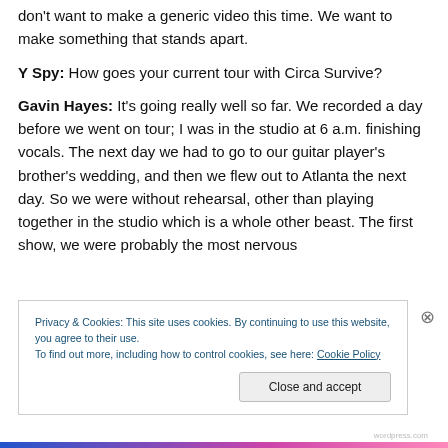don't want to make a generic video this time.  We want to make something that stands apart.
Y Spy: How goes your current tour with Circa Survive?
Gavin Hayes: It's going really well so far.  We recorded a day before we went on tour; I was in the studio at 6 a.m. finishing vocals.  The next day we had to go to our guitar player's brother's wedding, and then we flew out to Atlanta the next day.  So we were without rehearsal, other than playing together in the studio which is a whole other beast.  The first show, we were probably the most nervous
Privacy & Cookies: This site uses cookies. By continuing to use this website, you agree to their use.
To find out more, including how to control cookies, see here: Cookie Policy
Close and accept